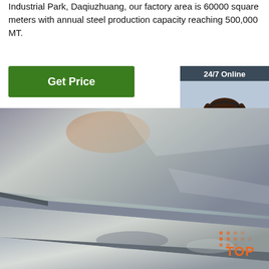Industrial Park, Daqiuzhuang, our factory area is 60000 square meters with annual steel production capacity reaching 500,000 MT.
[Figure (other): Green 'Get Price' button]
[Figure (other): 24/7 Online chat box with female agent photo, 'Click here for free chat!' text, and orange QUOTATION button]
[Figure (photo): Stacked steel plates/sheets industrial product photo with TOP badge in bottom right]
[Figure (logo): TOP badge logo in bottom right corner of steel photo]